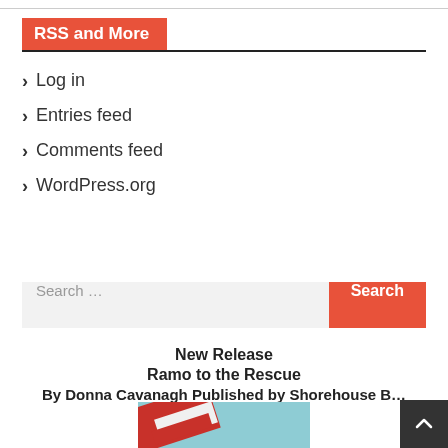RSS and More
Log in
Entries feed
Comments feed
WordPress.org
Search …
New Release
Ramo to the Rescue
By Donna Cavanagh Published by Shorehouse B…
[Figure (illustration): Book cover image showing a flag with red and white stripes against a blue sky background with the text 'Ramo']